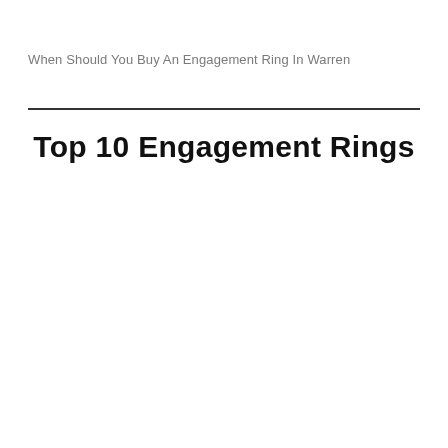When Should You Buy An Engagement Ring In Warren
Top 10 Engagement Rings